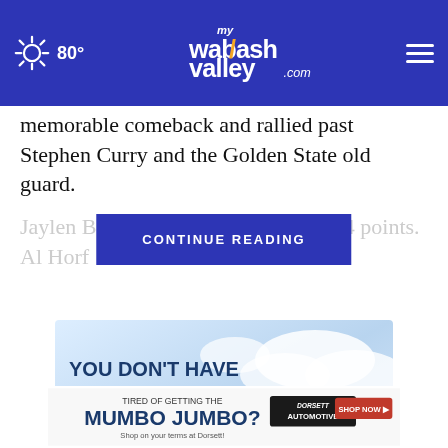80° mywabashvalley.com
memorable comeback and rallied past Stephen Curry and the Golden State old guard.
Jaylen Brown f scored 24 points. Al Horf the Celties
[Figure (screenshot): CONTINUE READING button overlay in blue]
[Figure (advertisement): YOU DON'T HAVE TO BE A SYCAMORE TO SAVE MORE! Just Ask! - advertisement with house image and cloudy sky background]
[Figure (advertisement): TIRED OF GETTING THE MUMBO JUMBO? DORSETT AUTOMOTIVE - Shop on your terms at Dorsett! SHOP NOW banner ad]